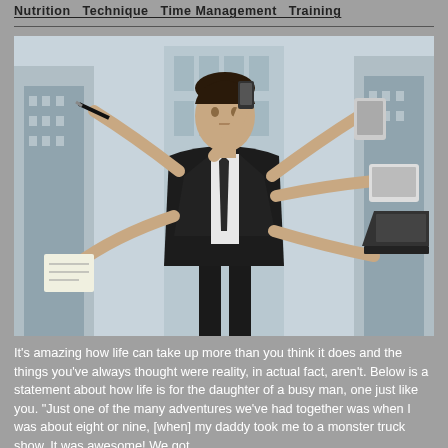Nutrition  Technique  Time Management  Training
[Figure (photo): A man in a black suit with multiple arms each holding different items: a pen, a phone, a tablet, a laptop, and a notepad — symbolizing multitasking. City buildings in the background.]
It's amazing how life can take up more than you think it does and the things you've always thought were reality, in actual fact, aren't. Below is a statement about how life is for the daughter of a busy man, one just like you. "Just one of the many adventures we've had together was when I was about eight or nine, [when] my daddy took me to a monster truck show. It was awesome! We got